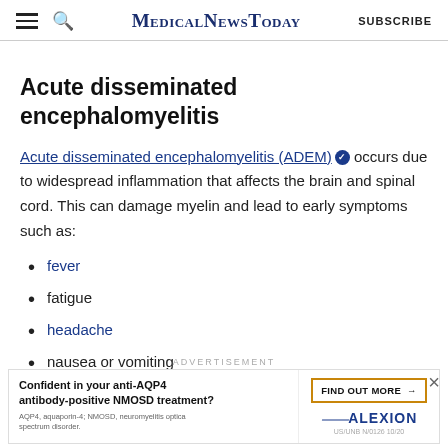MedicalNewsToday | SUBSCRIBE
Acute disseminated encephalomyelitis
Acute disseminated encephalomyelitis (ADEM) occurs due to widespread inflammation that affects the brain and spinal cord. This can damage myelin and lead to early symptoms such as:
fever
fatigue
headache
nausea or vomiting
[Figure (other): Advertisement banner: Confident in your anti-AQP4 antibody-positive NMOSD treatment? FIND OUT MORE → Alexion logo. AQP4, aquaporin-4; NMOSD, neuromyelitis optica spectrum disorder. US/UNB N/0126 10/20]